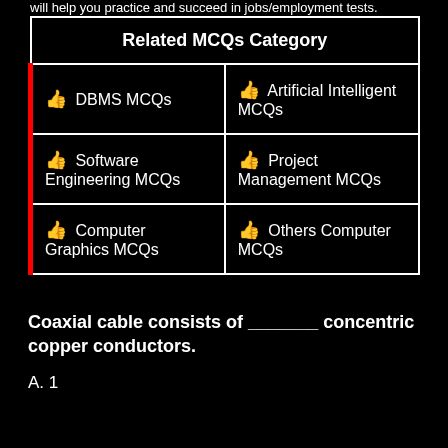will help you practice and succeed in jobs/employment tests.
| Related MCQs Category |
| --- |
| 👍 DBMS MCQs | 👍 Artificial Intelligent MCQs |
| 👍 Software Engineering MCQs | 👍 Project Management MCQs |
| 👍 Computer Graphics MCQs | 👍 Others Computer MCQs |
Coaxial cable consists of _______ concentric copper conductors.
A. 1